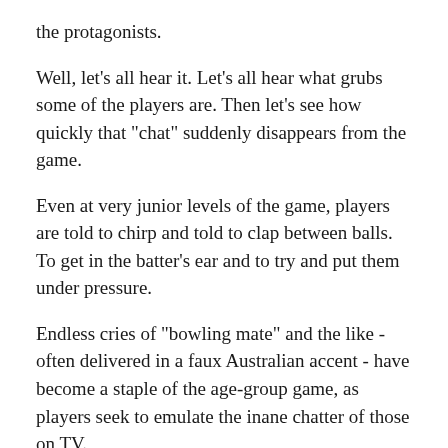the protagonists.
Well, let's all hear it. Let's all hear what grubs some of the players are. Then let's see how quickly that "chat" suddenly disappears from the game.
Even at very junior levels of the game, players are told to chirp and told to clap between balls. To get in the batter's ear and to try and put them under pressure.
Endless cries of "bowling mate" and the like - often delivered in a faux Australian accent - have become a staple of the age-group game, as players seek to emulate the inane chatter of those on TV.
When the story of international cricket is told, Australia's Steve Waugh will feature relatively prominently. A doughty batsman and successful captain, Waugh is also synonymous with the term